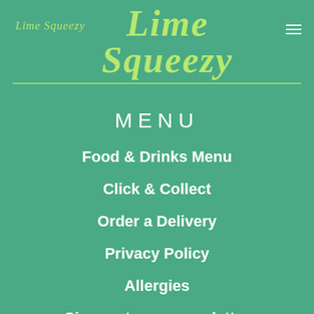Lime Squeezy
MENU
Food & Drinks Menu
Click & Collect
Order a Delivery
Privacy Policy
Allergies
Sign up to our newsletter